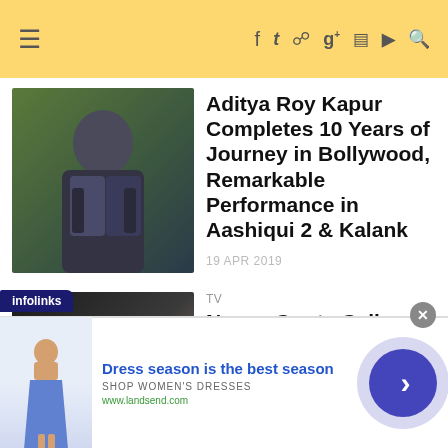Navigation header with menu, social icons (Facebook, Twitter, Pinterest, Google+, Instagram, YouTube) and search
[Figure (photo): Photo of Aditya Roy Kapur in dark suit]
Aditya Roy Kapur Completes 10 Years of Journey in Bollywood, Remarkable Performance in Aashiqui 2 & Kalank
19 APR 2019
[Figure (photo): Photo of Karan Johar and Neena Gupta]
TV
Neena Gupta Calls Shahrukh Khan And Karan Johar Cheap, Know Why
[Figure (other): Infolinks advertisement banner: Dress season is the best season - Shop Women's Dresses - www.landsend.com]